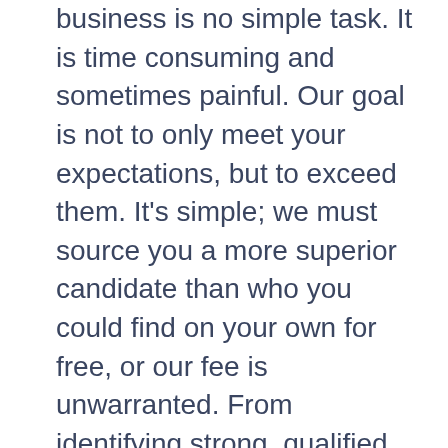business is no simple task. It is time consuming and sometimes painful. Our goal is not to only meet your expectations, but to exceed them. It's simple; we must source you a more superior candidate than who you could find on your own for free, or our fee is unwarranted. From identifying strong, qualified candidates, to supporting you throughout the selection process and providing ongoing advice through our collaborative consultative approach, we offer a simply unparalleled experience. Whether you are a locally owned startup on your way to the top, already a well-established organization or a Fortune 500 firm